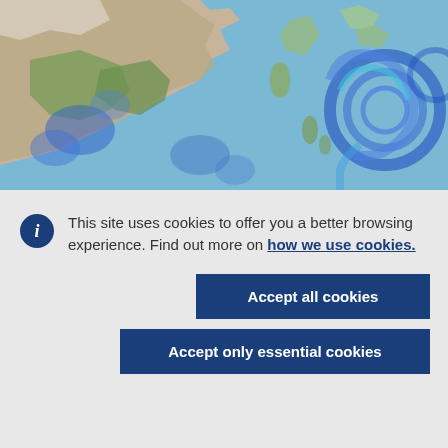[Figure (map): Satellite/radar weather map showing East Asia region including China, Korea, Japan, Taiwan, Philippines with blue ocean areas and cyclone spiral visible in the western Pacific Ocean. Blue precipitation/rainfall overlays visible.]
This site uses cookies to offer you a better browsing experience. Find out more on how we use cookies.
Accept all cookies
Accept only essential cookies